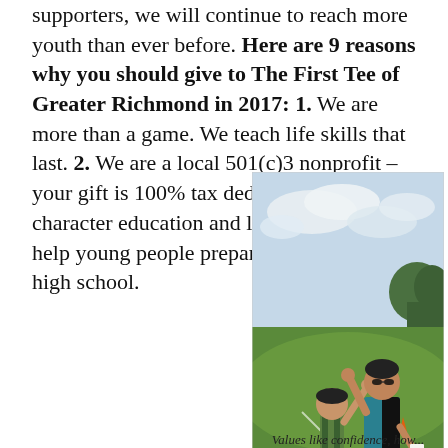supporters, we will continue to reach more youth than ever before. Here are 9 reasons why you should give to The First Tee of Greater Richmond in 2017: 1. We are more than a game. We teach life skills that last. 2. We are a local 501(c)3 nonprofit – your gift is 100% tax deductible. 3. Our character education and life skills program help young people prepare for success in high school.
[Figure (photo): A golf instructor and a young child giving each other a high five on a golf course with green grass and cloudy sky in the background.]
Values like confidence, how...